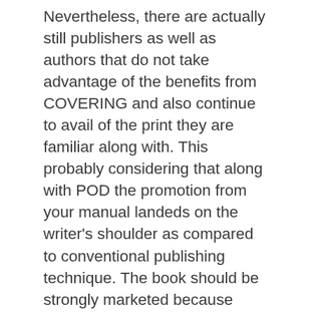Nevertheless, there are actually still publishers as well as authors that do not take advantage of the benefits from COVERING and also continue to avail of the print they are familiar along with. This probably considering that along with POD the promotion from your manual landeds on the writer's shoulder as compared to conventional publishing technique. The book should be strongly marketed because book shops will hardly keep them or perhaps supply finalizings along with their writers. Individuals would like to read through good books, yet the advertising tactic need to be effective to create the visitors conscious that the books